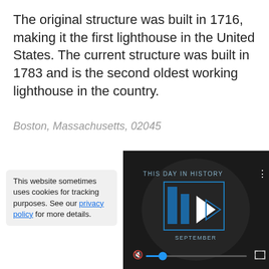The original structure was built in 1716, making it the first lighthouse in the United States. The current structure was built in 1783 and is the second oldest working lighthouse in the country.
Boston, Massachusetts, 02045
This website sometimes uses cookies for tracking purposes. See our privacy policy for more details.
[Figure (screenshot): Video player with dark background showing 'THIS DAY IN HISTORY' text, blue play button icons, progress bar with blue knob, mute button, and fullscreen button. 'SEPTEMBER' text visible at bottom of video frame.]